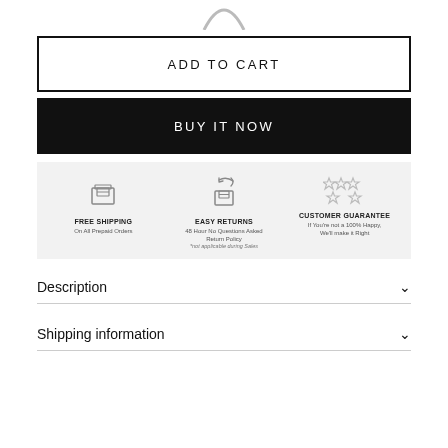[Figure (logo): Partial circular logo arc visible at top of page]
ADD TO CART
BUY IT NOW
[Figure (infographic): Trust banner with three icons: FREE SHIPPING On All Prepaid Orders, EASY RETURNS 48 Hour No Questions Asked Return Policy *not applicable during Sales, CUSTOMER GUARANTEE If You're not a 100% Happy, We'll make it Right]
Description
Shipping information